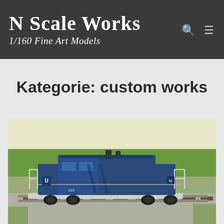N Scale Works – 1/160 Fine Art Models
Kategorie: custom works
[Figure (photo): Photo of a blue N-scale model diesel locomotive (numbered 420) on model railroad tracks, with green grass scenery in the background. The locomotive is weathered and detailed with white railings.]